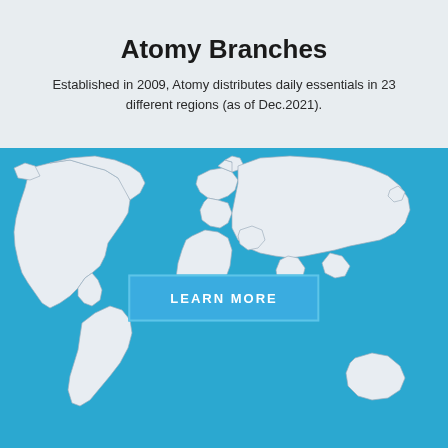Atomy Branches
Established in 2009, Atomy distributes daily essentials in 23 different regions (as of Dec.2021).
[Figure (map): World map illustration on blue background showing white continents (North America, South America, Europe, Africa, Asia, Australia) with country borders, and a 'LEARN MORE' button overlay in the center.]